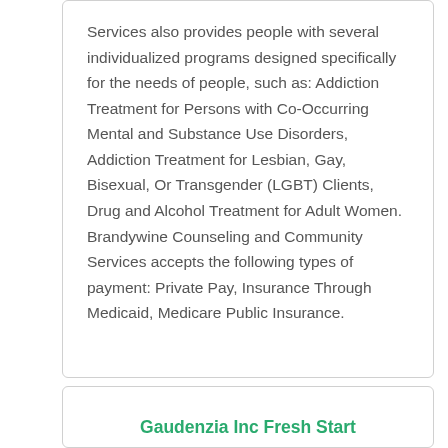Services also provides people with several individualized programs designed specifically for the needs of people, such as: Addiction Treatment for Persons with Co-Occurring Mental and Substance Use Disorders, Addiction Treatment for Lesbian, Gay, Bisexual, Or Transgender (LGBT) Clients, Drug and Alcohol Treatment for Adult Women. Brandywine Counseling and Community Services accepts the following types of payment: Private Pay, Insurance Through Medicaid, Medicare Public Insurance.
Gaudenzia Inc Fresh Start